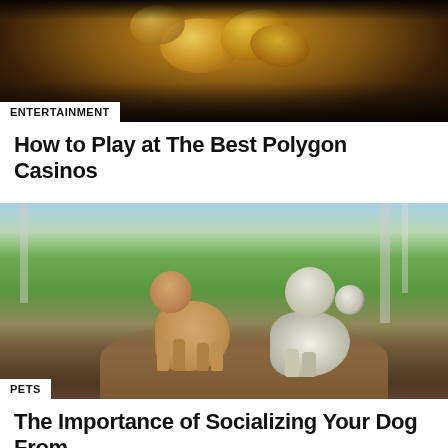[Figure (photo): Close-up photo of gold coins on a dark background, blurred bokeh style]
ENTERTAINMENT
How to Play at The Best Polygon Casinos
[Figure (photo): Two dogs on a dirt path in a forested area — a tan/beige dog standing and a black and white husky-type dog sitting, interacting with each other]
PETS
The Importance of Socializing Your Dog From